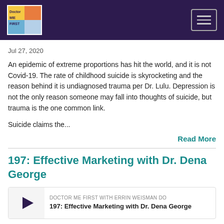Doctor ME FIRST
Jul 27, 2020
An epidemic of extreme proportions has hit the world, and it is not Covid-19. The rate of childhood suicide is skyrocketing and the reason behind it is undiagnosed trauma per Dr. Lulu. Depression is not the only reason someone may fall into thoughts of suicide, but trauma is the one common link.
Suicide claims the...
Read More
197: Effective Marketing with Dr. Dena George
DOCTOR ME FIRST WITH ERRIN WEISMAN DO
197: Effective Marketing with Dr. Dena George